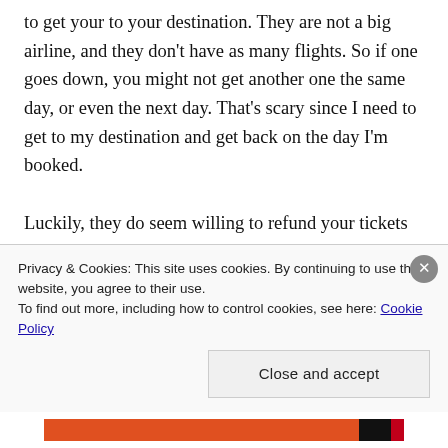to get your to your destination. They are not a big airline, and they don't have as many flights. So if one goes down, you might not get another one the same day, or even the next day. That's scary since I need to get to my destination and get back on the day I'm booked.

Luckily, they do seem willing to refund your tickets in such situations. So worst case, I'm
Privacy & Cookies: This site uses cookies. By continuing to use this website, you agree to their use.
To find out more, including how to control cookies, see here: Cookie Policy
Close and accept